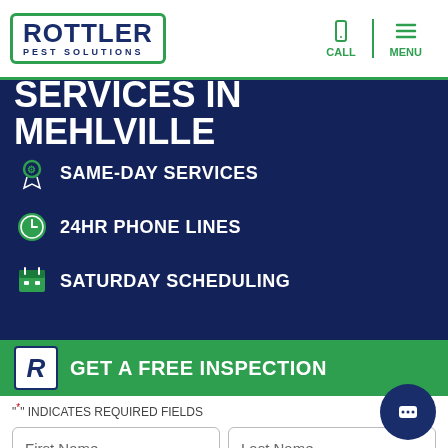Rottler Pest Solutions — CALL | MENU
$55 OFF PEST CONTROL SERVICES IN MEHLVILLE
GET A FREE INSPECTION
SAME-DAY SERVICES
24HR PHONE LINES
SATURDAY SCHEDULING
"*" INDICATES REQUIRED FIELDS
First Name | Last Name